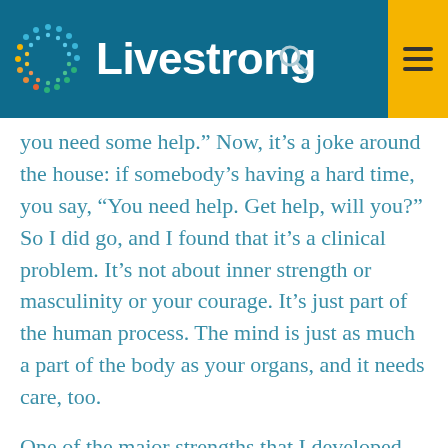Livestrong
you need some help.” Now, it’s a joke around the house: if somebody’s having a hard time, you say, “You need help. Get help, will you?” So I did go, and I found that it’s a clinical problem. It’s not about inner strength or masculinity or your courage. It’s just part of the human process. The mind is just as much a part of the body as your organs, and it needs care, too.
One of the major strengths that I developed over eight years is one that I didn’t anticipate, and that is my relationship to death. I go in every 90 days for scans. That, in itself, says, “I’m still threatened with death.” My acceptance of death has been a very important part of my living. A couple of things have